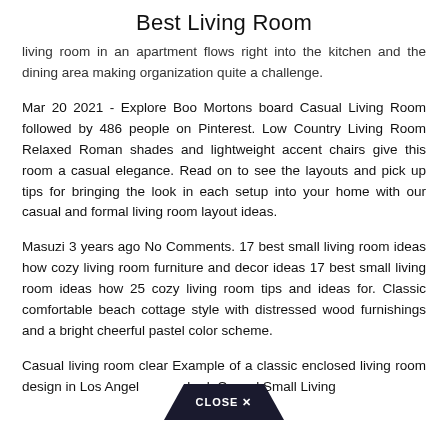Best Living Room
living room in an apartment flows right into the kitchen and the dining area making organization quite a challenge.
Mar 20 2021 - Explore Boo Mortons board Casual Living Room followed by 486 people on Pinterest. Low Country Living Room Relaxed Roman shades and lightweight accent chairs give this room a casual elegance. Read on to see the layouts and pick up tips for bringing the look in each setup into your home with our casual and formal living room layout ideas.
Masuzi 3 years ago No Comments. 17 best small living room ideas how cozy living room furniture and decor ideas 17 best small living room ideas how 25 cozy living room tips and ideas for. Classic comfortable beach cottage style with distressed wood furnishings and a bright cheerful pastel color scheme.
Casual living room clear Example of a classic enclosed living room design in Los Angeles standard. Casual Small Living